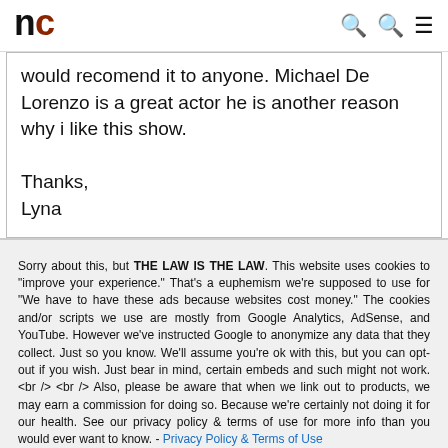nc
would recomend it to anyone. Michael De Lorenzo is a great actor he is another reason why i like this show.

Thanks,
Lyna
Sorry about this, but THE LAW IS THE LAW. This website uses cookies to "improve your experience." That's a euphemism we're supposed to use for "We have to have these ads because websites cost money." The cookies and/or scripts we use are mostly from Google Analytics, AdSense, and YouTube. However we've instructed Google to anonymize any data that they collect. Just so you know. We'll assume you're ok with this, but you can opt-out if you wish. Just bear in mind, certain embeds and such might not work.<br /> <br /> Also, please be aware that when we link out to products, we may earn a commission for doing so. Because we're certainly not doing it for our health. See our privacy policy & terms of use for more info than you would ever want to know. - Privacy Policy & Terms of Use